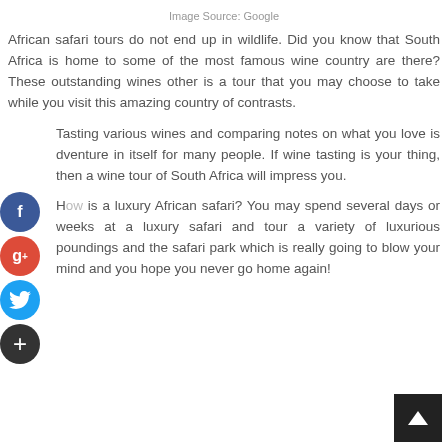Image Source: Google
African safari tours do not end up in wildlife. Did you know that South Africa is home to some of the most famous wine country are there? These outstanding wines other is a tour that you may choose to take while you visit this amazing country of contrasts.
Tasting various wines and comparing notes on what you love is adventure in itself for many people. If wine tasting is your thing, then a wine tour of South Africa will impress you.
How is a luxury African safari? You may spend several days or weeks at a luxury safari and tour a variety of luxurious surroundings and the safari park which is really going to blow your mind and you hope you never go home again!